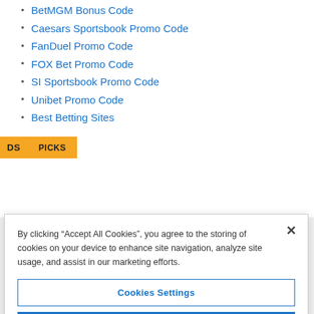BetMGM Bonus Code
Caesars Sportsbook Promo Code
FanDuel Promo Code
FOX Bet Promo Code
SI Sportsbook Promo Code
Unibet Promo Code
Best Betting Sites
By clicking “Accept All Cookies”, you agree to the storing of cookies on your device to enhance site navigation, analyze site usage, and assist in our marketing efforts.
Cookies Settings
Reject All
Accept All Cookies